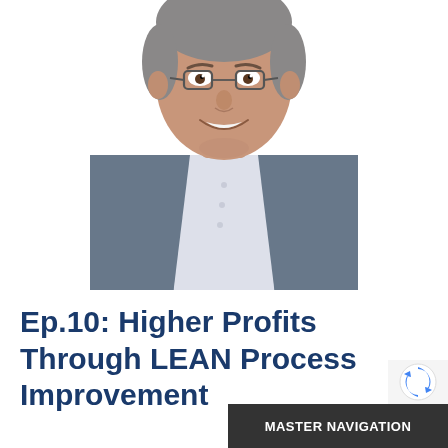[Figure (photo): Professional headshot of a middle-aged man with glasses, wearing a gray plaid sport coat over a white dress shirt, smiling, white background]
Ep.10: Higher Profits Through LEAN Process Improvement
[Figure (logo): reCAPTCHA logo icon (partial, blue arrow icon visible)]
MASTER NAVIGATION